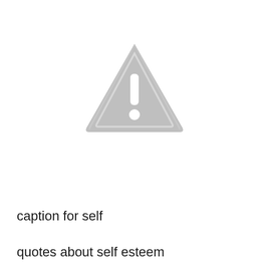[Figure (illustration): Gray warning triangle icon with a white exclamation mark (!) inside, rounded corners on the triangle.]
caption for self
quotes about self esteem